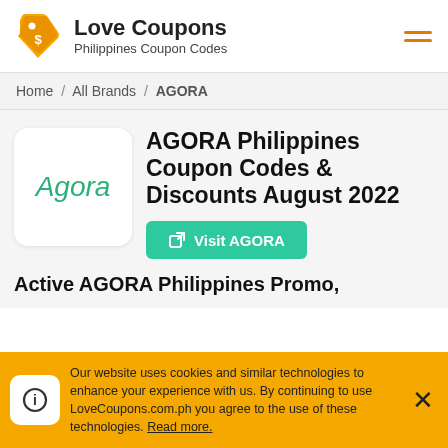Love Coupons — Philippines Coupon Codes
Home / All Brands / AGORA
AGORA Philippines Coupon Codes & Discounts August 2022
Visit AGORA
Active AGORA Philippines Promo,
Our website uses cookies and similar technologies to enhance your experience with us. By continuing to use LoveCoupons.com.ph you agree to the use of these technologies. Read more.